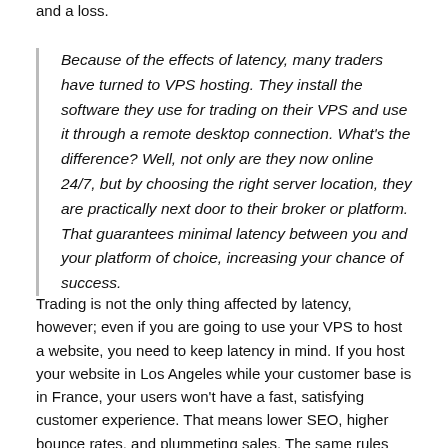and a loss.
Because of the effects of latency, many traders have turned to VPS hosting. They install the software they use for trading on their VPS and use it through a remote desktop connection. What's the difference? Well, not only are they now online 24/7, but by choosing the right server location, they are practically next door to their broker or platform. That guarantees minimal latency between you and your platform of choice, increasing your chance of success.
Trading is not the only thing affected by latency, however; even if you are going to use your VPS to host a website, you need to keep latency in mind. If you host your website in Los Angeles while your customer base is in France, your users won't have a fast, satisfying customer experience. That means lower SEO, higher bounce rates, and plummeting sales. The same rules apply when you use an RDP server to work at a remote office.